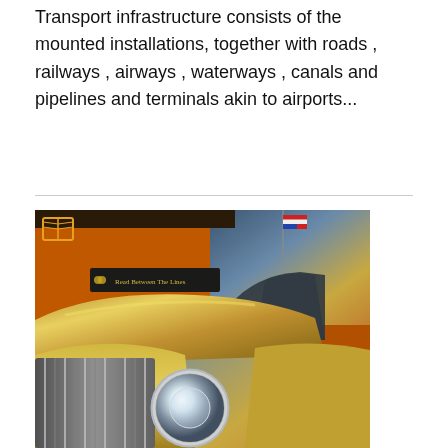Transport infrastructure consists of the mounted installations, together with roads , railways , airways , waterways , canals and pipelines and terminals akin to airports...
[Figure (photo): HDR photograph of a vintage classic car (gold/yellow colored) parked on a street in front of an orange brick building with a sign reading 'Read Between The Lines'. An American flag is visible in the background on the right side. The car features a chrome front grille, round headlight, and swooping hood. The photo has a dramatic HDR tone-mapped appearance with a sunset sky.]